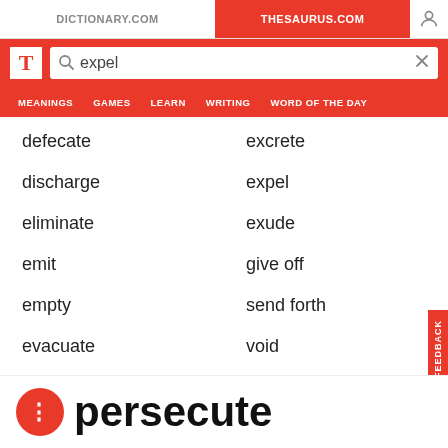DICTIONARY.COM | THESAURUS.COM
expel
defecate
excrete
discharge
expel
eliminate
exude
emit
give off
empty
send forth
evacuate
void
persecute